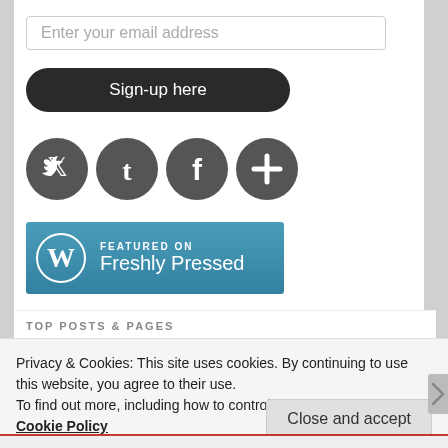[Figure (screenshot): Email input field with placeholder text 'Enter your email address']
[Figure (screenshot): Dark rounded button labeled 'Sign-up here']
[Figure (screenshot): Social media icons: Twitter, Tumblr, Facebook, and a plus/more icon]
[Figure (logo): WordPress 'Featured on Freshly Pressed' badge with blue background]
TOP POSTS & PAGES
Privacy & Cookies: This site uses cookies. By continuing to use this website, you agree to their use.
To find out more, including how to control cookies, see here: Cookie Policy